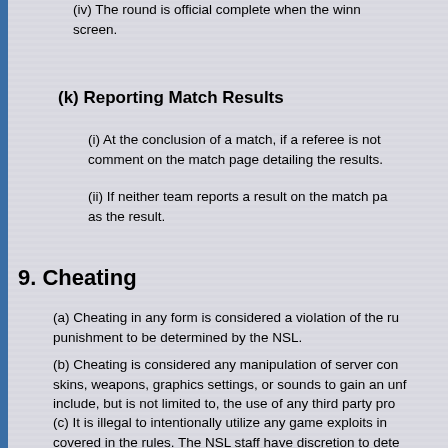(iv) The round is official complete when the winning score screen.
(k) Reporting Match Results
(i) At the conclusion of a match, if a referee is not comment on the match page detailing the results.
(ii) If neither team reports a result on the match pa as the result.
9. Cheating
(a) Cheating in any form is considered a violation of the ru punishment to be determined by the NSL.
(b) Cheating is considered any manipulation of server con skins, weapons, graphics settings, or sounds to gain an unf include, but is not limited to, the use of any third party pro
(c) It is illegal to intentionally utilize any game exploits in covered in the rules. The NSL staff have discretion to dete exploit used in game. Players found intentionally utilizing